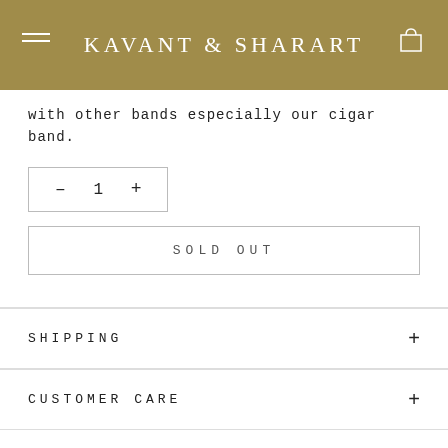KAVANT & SHARART
with other bands especially our cigar band.
– 1 +
SOLD OUT
SHIPPING
CUSTOMER CARE
MORE FOR YOUR CONSIDERATION